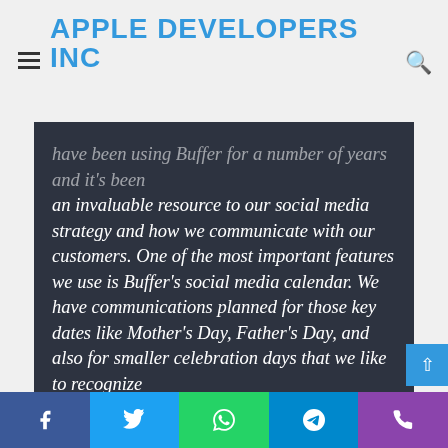APPLE DEVELOPERS INC
have been using Buffer for a number of years and it's been an invaluable resource to our social media strategy and how we communicate with our customers. One of the most important features we use is Buffer's social media calendar. We have communications planned for those key dates like Mother's Day, Father's Day, and also for smaller celebration days that we like to recognize